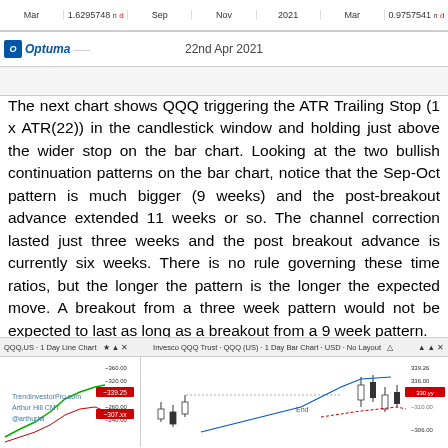[Figure (screenshot): Top portion of a stock chart (Optuma platform) showing QQQ data with date bar reading Mar, 1.6295748, Sep, Nov, 2021, Mar, 0.9757541, dated 22nd Apr 2021]
The next chart shows QQQ triggering the ATR Trailing Stop (1 x ATR(22)) in the candlestick window and holding just above the wider stop on the bar chart. Looking at the two bullish continuation patterns on the bar chart, notice that the Sep-Oct pattern is much bigger (9 weeks) and the post-breakout advance extended 11 weeks or so. The channel correction lasted just three weeks and the post breakout advance is currently six weeks. There is no rule governing these time ratios, but the longer the pattern is the longer the expected move. A breakout from a three week pattern would not be expected to last as long as a breakout from a 9 week pattern.
[Figure (screenshot): Bottom portion showing QQQ US 1 Day Line Chart and Invesco QQQ Trust QQQ(US) 1 Day Bar Chart USD No Layout, with candlestick/line chart data, TrendInvestorPro.com Arthur Hill CMT @arthurhil watermark, price levels around 260-360]